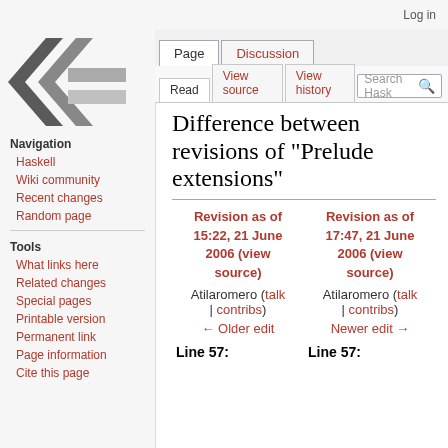Log in
[Figure (logo): Haskell wiki logo — double chevron / lambda symbol in grey tones]
Navigation
Haskell
Wiki community
Recent changes
Random page
Tools
What links here
Related changes
Special pages
Printable version
Permanent link
Page information
Cite this page
Difference between revisions of "Prelude extensions"
| Revision as of 15:22, 21 June 2006 (view source) | Revision as of 17:47, 21 June 2006 (view source) |
| --- | --- |
| Atilaromero (talk | contribs) | Atilaromero (talk | contribs) |
| ← Older edit | Newer edit → |
| Line 57: | Line 57: |